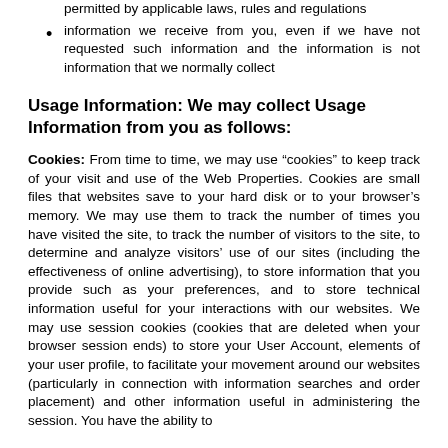permitted by applicable laws, rules and regulations
information we receive from you, even if we have not requested such information and the information is not information that we normally collect
Usage Information: We may collect Usage Information from you as follows:
Cookies: From time to time, we may use “cookies” to keep track of your visit and use of the Web Properties. Cookies are small files that websites save to your hard disk or to your browser’s memory. We may use them to track the number of times you have visited the site, to track the number of visitors to the site, to determine and analyze visitors’ use of our sites (including the effectiveness of online advertising), to store information that you provide such as your preferences, and to store technical information useful for your interactions with our websites. We may use session cookies (cookies that are deleted when your browser session ends) to store your User Account, elements of your user profile, to facilitate your movement around our websites (particularly in connection with information searches and order placement) and other information useful in administering the session. You have the ability to